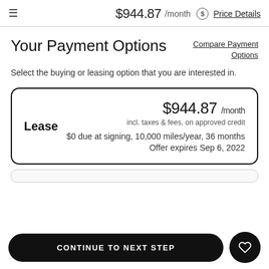$944.87 /month Price Details
Your Payment Options
Compare Payment Options
Select the buying or leasing option that you are interested in.
Lease
$944.87 /month
incl. taxes & fees, on approved credit
$0 due at signing, 10,000 miles/year, 36 months
Offer expires Sep 6, 2022
CONTINUE TO NEXT STEP